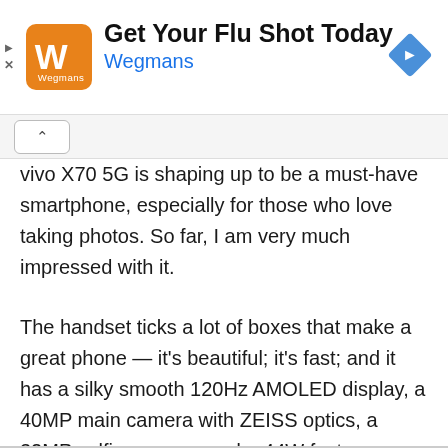[Figure (screenshot): Advertisement banner for Wegmans flu shot with orange logo, navigation arrow icon, and blue brand name link]
vivo X70 5G is shaping up to be a must-have smartphone, especially for those who love taking photos. So far, I am very much impressed with it.
The handset ticks a lot of boxes that make a great phone — it's beautiful; it's fast; and it has a silky smooth 120Hz AMOLED display, a 40MP main camera with ZEISS optics, a 32MP selfie camera, and a 44W fast charging.